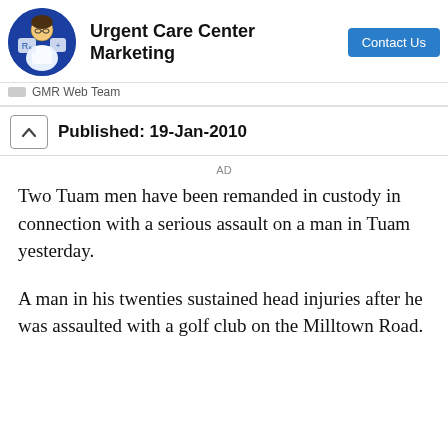[Figure (other): Advertisement banner for Urgent Care Center Marketing by GMR Web Team, with a circular logo image of a medical professional, bold title text, and a blue 'Contact Us' button.]
Published: 19-Jan-2010
AD
Two Tuam men have been remanded in custody in connection with a serious assault on a man in Tuam yesterday.
A man in his twenties sustained head injuries after he was assaulted with a golf club on the Milltown Road.